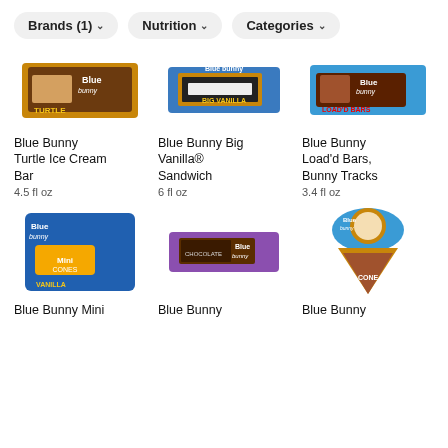[Figure (screenshot): Filter bar with three dropdown buttons: Brands (1), Nutrition, Categories]
[Figure (photo): Blue Bunny Turtle Ice Cream Bar product package photo]
Blue Bunny Turtle Ice Cream Bar
4.5 fl oz
[Figure (photo): Blue Bunny Big Vanilla Sandwich product package photo]
Blue Bunny Big Vanilla® Sandwich
6 fl oz
[Figure (photo): Blue Bunny Load'd Bars Bunny Tracks product package photo]
Blue Bunny Load'd Bars, Bunny Tracks
3.4 fl oz
[Figure (photo): Blue Bunny Mini cones product package photo]
Blue Bunny Mini
[Figure (photo): Blue Bunny chocolate bar product package photo]
Blue Bunny
[Figure (photo): Blue Bunny cone product photo]
Blue Bunny